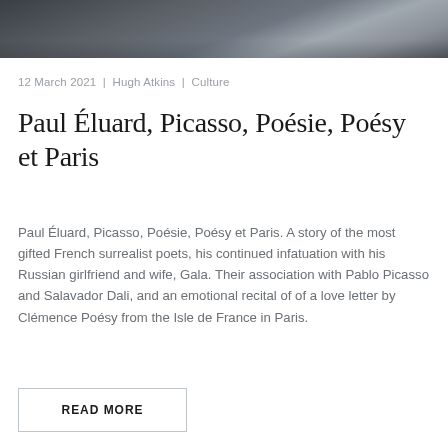[Figure (photo): Dark atmospheric photograph showing a partial figure against a large grey wall, appears to be an urban or architectural scene in muted dark tones]
12 March 2021  |  Hugh Atkins  |  Culture
Paul Éluard, Picasso, Poésie, Poésy et Paris
Paul Éluard, Picasso, Poésie, Poésy et Paris. A story of the most gifted French surrealist poets, his continued infatuation with his Russian girlfriend and wife, Gala. Their association with Pablo Picasso and Salavador Dali, and an emotional recital of of a love letter by Clémence Poésy from the Isle de France in Paris.
READ MORE